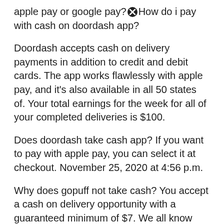apple pay or google pay? How do i pay with cash on doordash app?
Doordash accepts cash on delivery payments in addition to credit and debit cards. The app works flawlessly with apple pay, and it’s also available in all 50 states of. Your total earnings for the week for all of your completed deliveries is $100.
Does doordash take cash app? If you want to pay with apple pay, you can select it at checkout. November 25, 2020 at 4:56 p.m.
Why does gopuff not take cash? You accept a cash on delivery opportunity with a guaranteed minimum of $7. We all know doordash masks or hide the actual value of the tips.